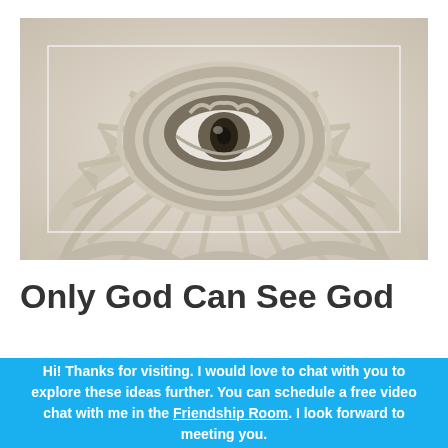[Figure (photo): Close-up photograph of a white plaster or stone architectural ceiling medallion featuring an all-seeing eye (Eye of Providence) motif in the center, surrounded by decorative sunburst rays and ornamental molding.]
Only God Can See God
Hi! Thanks for visiting. I would love to chat with you to explore these ideas further. You can schedule a free video chat with me in the Friendship Room. I look forward to meeting you.